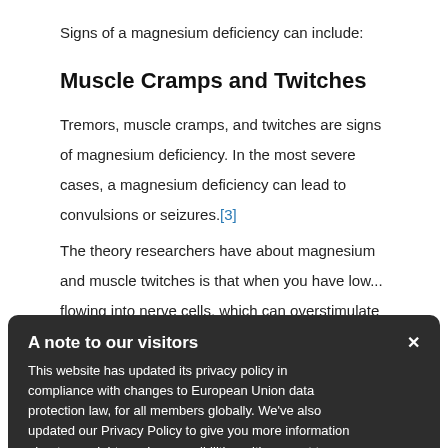Signs of a magnesium deficiency can include:
Muscle Cramps and Twitches
Tremors, muscle cramps, and twitches are signs of magnesium deficiency. In the most severe cases, a magnesium deficiency can lead to convulsions or seizures.[3]
The theory researchers have about magnesium and muscle twitches is that when you have low... flowing into nerve cells, which can overstimulate muscle nerves
Mood Disorders
Some of the mental and mood disorders linked to
A note to our visitors
This website has updated its privacy policy in compliance with changes to European Union data protection law, for all members globally. We've also updated our Privacy Policy to give you more information about your rights and responsibilities with respect to your privacy and personal information. Please read this to review the updates about which cookies we use and what information we collect on our site. By continuing to use this site, you are agreeing to our updated privacy policy.